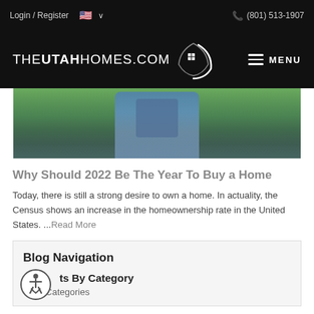Login / Register  🇺🇸 ∨    (801) 513-1907
[Figure (logo): THEUTAHHOMES.COM logo with house icon in white on black background, MENU button with hamburger icon on right]
[Figure (photo): Person in blue shirt outdoors on green grass, upper body cropped]
Why Should 2022 Be The Year To Buy a Home
Today, there is still a strong desire to own a home. In actuality, the Census shows an increase in the homeownership rate in the United States. ...Read More
Blog Navigation
Posts By Category
All Categories